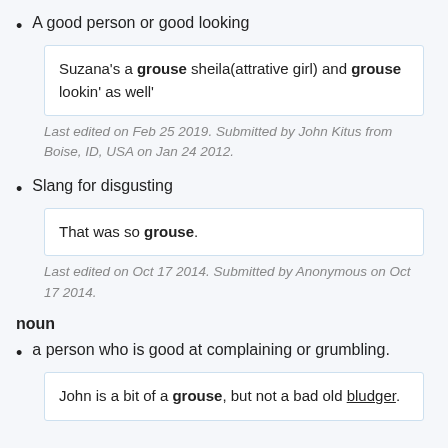A good person or good looking
Suzana's a grouse sheila(attrative girl) and grouse lookin' as well'
Last edited on Feb 25 2019. Submitted by John Kitus from Boise, ID, USA on Jan 24 2012.
Slang for disgusting
That was so grouse.
Last edited on Oct 17 2014. Submitted by Anonymous on Oct 17 2014.
noun
a person who is good at complaining or grumbling.
John is a bit of a grouse, but not a bad old bludger.